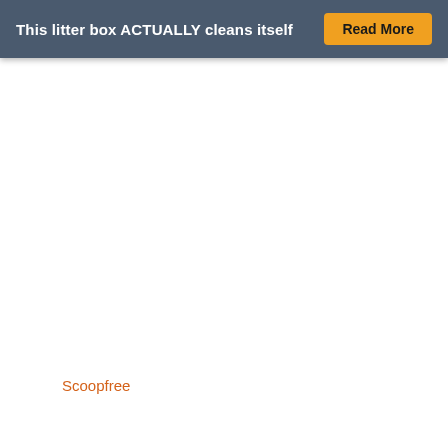This litter box ACTUALLY cleans itself  Read More
Scoopfree